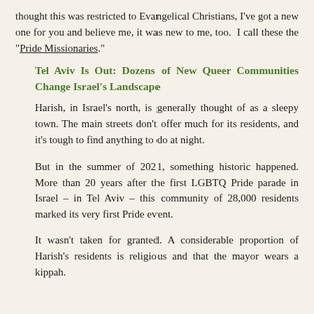thought this was restricted to Evangelical Christians, I've got a new one for you and believe me, it was new to me, too. I call these the "Pride Missionaries."
Tel Aviv Is Out: Dozens of New Queer Communities Change Israel's Landscape
Harish, in Israel's north, is generally thought of as a sleepy town. The main streets don't offer much for its residents, and it's tough to find anything to do at night.
But in the summer of 2021, something historic happened. More than 20 years after the first LGBTQ Pride parade in Israel – in Tel Aviv – this community of 28,000 residents marked its very first Pride event.
It wasn't taken for granted. A considerable proportion of Harish's residents is religious and that the mayor wears a kippah.